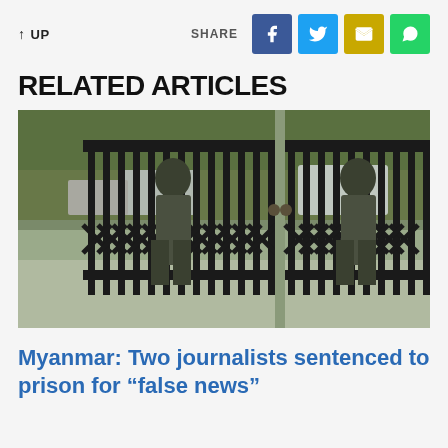↑ UP
SHARE
[Figure (photo): Two police officers in uniform standing at and holding a large black metal gate with diamond-pattern lower bars; vehicles and trees visible in the background.]
Myanmar: Two journalists sentenced to prison for “false news”